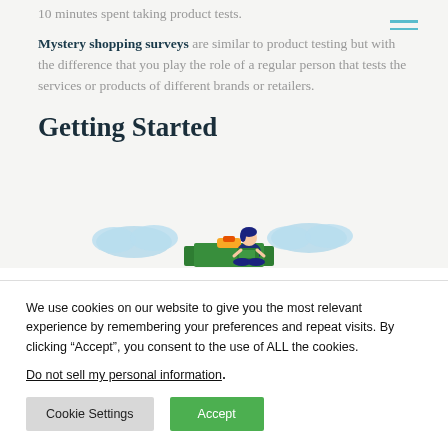10 minutes spent taking product tests.
Mystery shopping surveys are similar to product testing but with the difference that you play the role of a regular person that tests the services or products of different brands or retailers.
Getting Started
[Figure (illustration): Illustration of a person sitting cross-legged on a clipboard, working on a laptop, with blue cloud shapes in the background on a light background.]
We use cookies on our website to give you the most relevant experience by remembering your preferences and repeat visits. By clicking “Accept”, you consent to the use of ALL the cookies.
Do not sell my personal information.
Cookie Settings
Accept